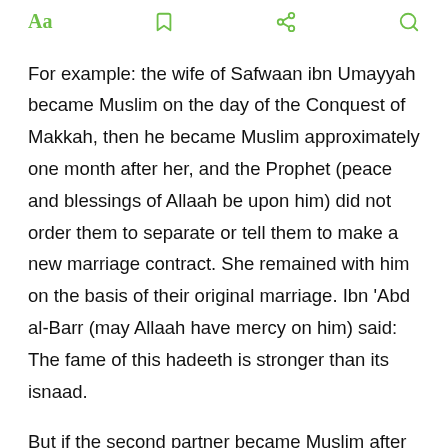Aa  [bookmark icon]  [share icon]  [search icon]
For example: the wife of Safwaan ibn Umayyah became Muslim on the day of the Conquest of Makkah, then he became Muslim approximately one month after her, and the Prophet (peace and blessings of Allaah be upon him) did not order them to separate or tell them to make a new marriage contract. She remained with him on the basis of their original marriage. Ibn 'Abd al-Barr (may Allaah have mercy on him) said: The fame of this hadeeth is stronger than its isnaad.
But if the second partner became Muslim after the end of the 'iddah, in this case there is a difference of